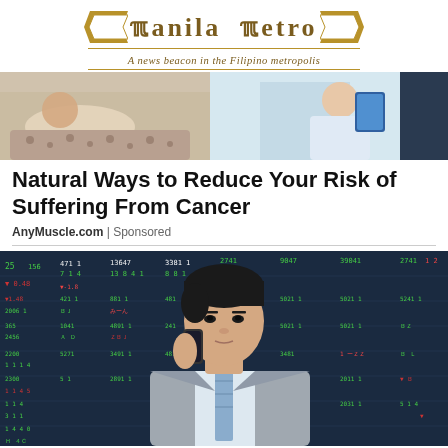[Figure (logo): Manila Metro newspaper logo with decorative serif typography and tagline 'A news beacon in the Filipino metropolis']
[Figure (photo): Banner image showing a patient lying in bed with a doctor or nurse standing nearby holding a tablet/clipboard]
Natural Ways to Reduce Your Risk of Suffering From Cancer
AnyMuscle.com | Sponsored
[Figure (photo): Photo of a young Asian businessman in a grey suit talking on a mobile phone, with a stock market display board showing numbers and charts in green and red in the background]